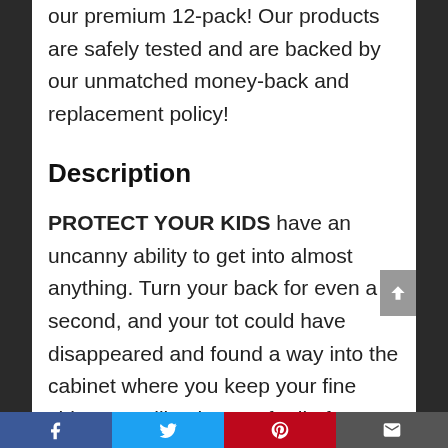our premium 12-pack! Our products are safely tested and are backed by our unmatched money-back and replacement policy!
Description
PROTECT YOUR KIDS have an uncanny ability to get into almost anything. Turn your back for even a second, and your tot could have disappeared and found a way into the cabinet where you keep your fine china. Just like that poof! All of Grandma's heirlooms are smashed on the floor. Okay, that might be a
Facebook | Twitter | Pinterest | Email